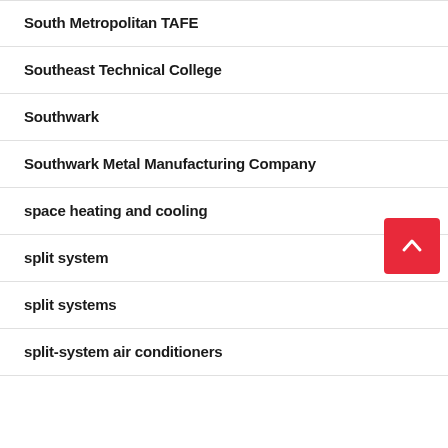South Metropolitan TAFE
Southeast Technical College
Southwark
Southwark Metal Manufacturing Company
space heating and cooling
split system
split systems
split-system air conditioners